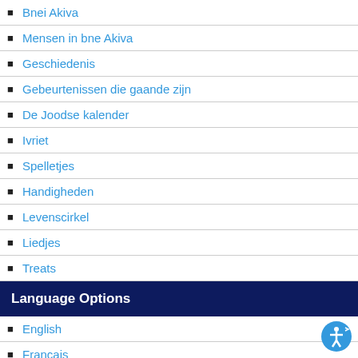Bnei Akiva
Mensen in bne Akiva
Geschiedenis
Gebeurtenissen die gaande zijn
De Joodse kalender
Ivriet
Spelletjes
Handigheden
Levenscirkel
Liedjes
Treats
Language Options
English
Francais
Svenska